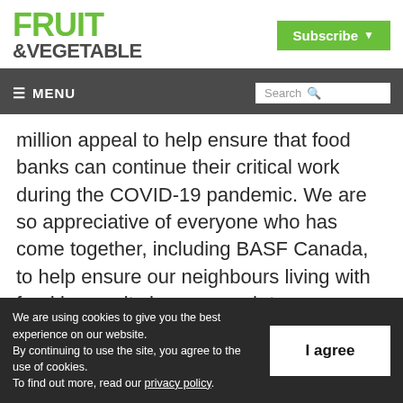FRUIT &VEGETABLE | Subscribe
≡ MENU | Search
million appeal to help ensure that food banks can continue their critical work during the COVID-19 pandemic. We are so appreciative of everyone who has come together, including BASF Canada, to help ensure our neighbours living with food insecurity have enough to
We are using cookies to give you the best experience on our website. By continuing to use the site, you agree to the use of cookies. To find out more, read our privacy policy.